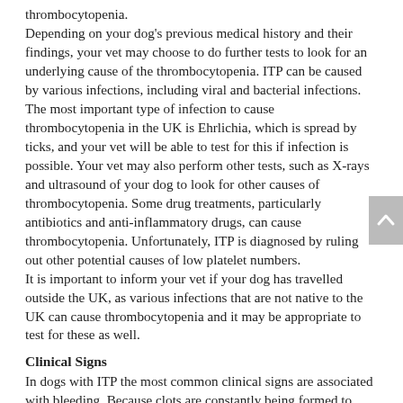thrombocytopenia. Depending on your dog's previous medical history and their findings, your vet may choose to do further tests to look for an underlying cause of the thrombocytopenia. ITP can be caused by various infections, including viral and bacterial infections. The most important type of infection to cause thrombocytopenia in the UK is Ehrlichia, which is spread by ticks, and your vet will be able to test for this if infection is possible. Your vet may also perform other tests, such as X-rays and ultrasound of your dog to look for other causes of thrombocytopenia. Some drug treatments, particularly antibiotics and anti-inflammatory drugs, can cause thrombocytopenia. Unfortunately, ITP is diagnosed by ruling out other potential causes of low platelet numbers. It is important to inform your vet if your dog has travelled outside the UK, as various infections that are not native to the UK can cause thrombocytopenia and it may be appropriate to test for these as well.
Clinical Signs
In dogs with ITP the most common clinical signs are associated with bleeding. Because clots are constantly being formed to prevent bleeding, even when no obvious trauma has occurred, dogs usually show signs of bleeding even without injuring themselves. Nosebleeds, bruising of the skin or gums, or petechiae (small red spotted rash caused by leaking capillaries)